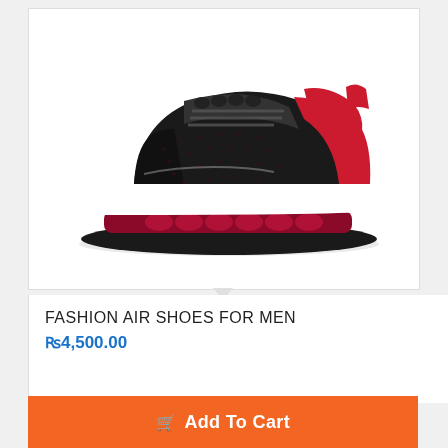[Figure (photo): Black and red men's fashion air sneaker/running shoe with white midsole and dark red air cushion sole, viewed from the side]
FASHION AIR SHOES FOR MEN
₨4,500.00
Add To Cart